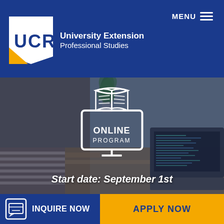[Figure (logo): UCR University Extension Professional Studies logo with blue background, white UCR text box and gold accent]
MENU
[Figure (photo): Person working at desk with laptop, open book icon overlay showing ONLINE PROGRAM, brick wall and plant in background]
ONLINE PROGRAM
Start date: September 1st
INQUIRE NOW
APPLY NOW